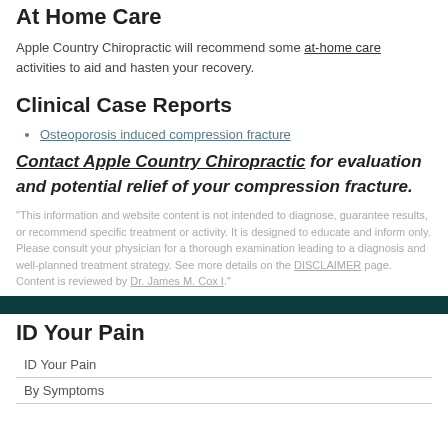At Home Care
Apple Country Chiropractic will recommend some at-home care activities to aid and hasten your recovery.
Clinical Case Reports
Osteoporosis induced compression fracture
Contact Apple Country Chiropractic for evaluation and potential relief of your compression fracture.
"This information and website content is not intended to diagnose, guarantee results, or recommend specific treatment or activity. It is designed to educate and inform only. Please consult your physician for a thorough examination leading to a diagnosis and well-planned treatment strategy. See more details on the DISCLAIMER page. Content is reviewed by Dr. James M. Cox I."
ID Your Pain
ID Your Pain
By Symptoms